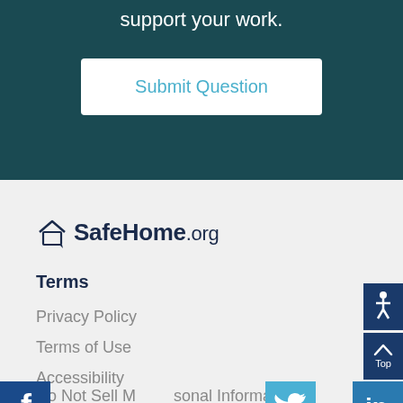support your work.
Submit Question
[Figure (logo): SafeHome.org logo with house icon]
Terms
Privacy Policy
Terms of Use
Accessibility
Do Not Sell My Personal Informa...
[Figure (logo): Facebook social icon (dark blue)]
[Figure (logo): Twitter social icon (light blue)]
[Figure (logo): LinkedIn social icon (medium blue)]
[Figure (illustration): Accessibility person icon button (dark navy, top right)]
[Figure (illustration): Back to top button with caret arrow (dark navy, top right below accessibility)]